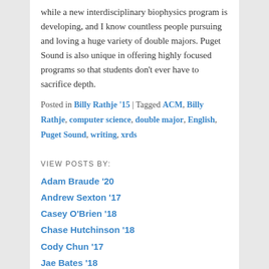while a new interdisciplinary biophysics program is developing, and I know countless people pursuing and loving a huge variety of double majors. Puget Sound is also unique in offering highly focused programs so that students don't ever have to sacrifice depth.
Posted in Billy Rathje '15 | Tagged ACM, Billy Rathje, computer science, double major, English, Puget Sound, writing, xrds
VIEW POSTS BY:
Adam Braude '20
Andrew Sexton '17
Casey O'Brien '18
Chase Hutchinson '18
Cody Chun '17
Jae Bates '18
Jesse Jenks '19
Katy Stehr '17
Kevin Le '19
McKinley Nevins '18